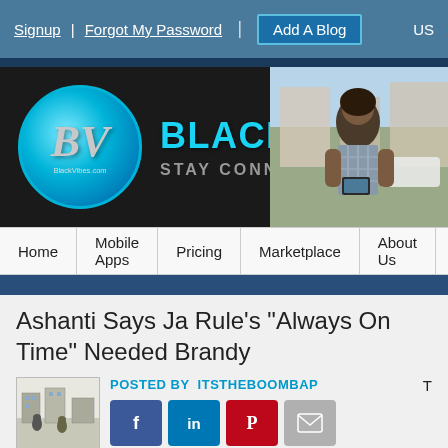Signup | Forgot My Password | Add A Blog | US
[Figure (screenshot): Black Vibes website banner with logo circle (BV), brand name BLACK VIBES, tagline STAY CONNECTED, and a photo of a woman looking at her phone]
Home | Mobile Apps | Pricing | Marketplace | About Us | Contact U
Ashanti Says Ja Rule's "Always On Time" Needed Brandy
POSTED BY ITSTHEBOOMBAP
[Figure (infographic): Social share buttons: Facebook, LinkedIn, Pinterest, Email]
Tweet
Like 0